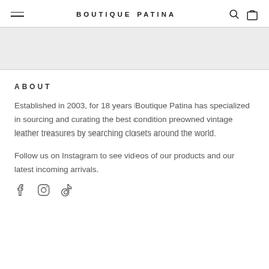BOUTIQUE PATINA
ABOUT
Established in 2003, for 18 years Boutique Patina has specialized in sourcing and curating the best condition preowned vintage leather treasures by searching closets around the world.
Follow us on Instagram to see videos of our products and our latest incoming arrivals.
[Figure (other): Social media icons: Facebook, Instagram, TikTok]